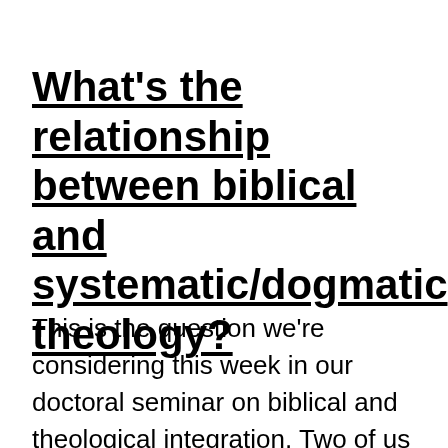What's the relationship between biblical and systematic/dogmatic theology?
This is the question we're considering this week in our doctoral seminar on biblical and theological integration. Two of us are theologians and the other four are bible scholars. Should be interesting! (Note: we'll